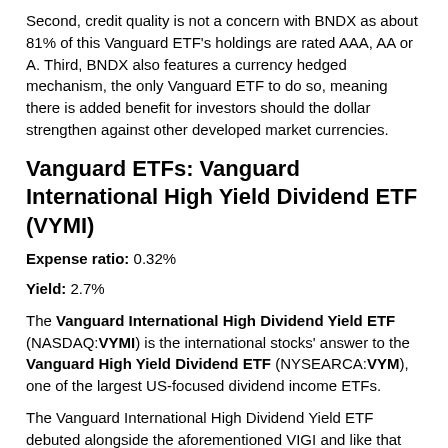Second, credit quality is not a concern with BNDX as about 81% of this Vanguard ETF's holdings are rated AAA, AA or A. Third, BNDX also features a currency hedged mechanism, the only Vanguard ETF to do so, meaning there is added benefit for investors should the dollar strengthen against other developed market currencies.
Vanguard ETFs: Vanguard International High Yield Dividend ETF (VYMI)
Expense ratio: 0.32%
Yield: 2.7%
The Vanguard International High Dividend Yield ETF (NASDAQ:VYMI) is the international stocks' answer to the Vanguard High Yield Dividend ETF (NYSEARCA:VYM), one of the largest US-focused dividend income ETFs.
The Vanguard International High Dividend Yield ETF debuted alongside the aforementioned VIGI and like that fund, VYMI has proven to be one of the most successful ETFs that debuted in 2016. VYMI now has $406.3 million in assets under management.
This Vanguard ETF tracks the FTSE All World ex U.S. High